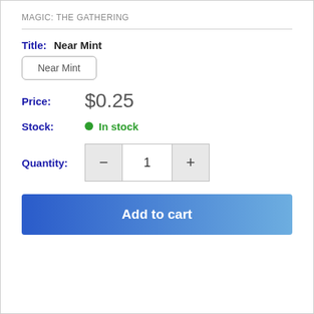MAGIC: THE GATHERING
Title: Near Mint
Near Mint
Price: $0.25
Stock: In stock
Quantity: 1
Add to cart